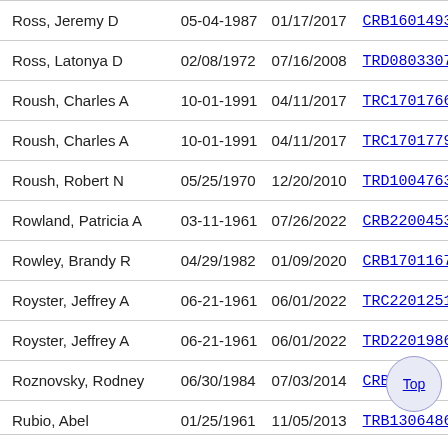| Ross, Jeremy D | 05-04-1987 | 01/17/2017 | CRB1601493 |
| Ross, Latonya D | 02/08/1972 | 07/16/2008 | TRD0803307 |
| Roush, Charles A | 10-01-1991 | 04/11/2017 | TRC1701766 |
| Roush, Charles A | 10-01-1991 | 04/11/2017 | TRC1701779 |
| Roush, Robert N | 05/25/1970 | 12/20/2010 | TRD1004763 |
| Rowland, Patricia A | 03-11-1961 | 07/26/2022 | CRB2200453 |
| Rowley, Brandy R | 04/29/1982 | 01/09/2020 | CRB1701167 |
| Royster, Jeffrey A | 06-21-1961 | 06/01/2022 | TRC2201251 |
| Royster, Jeffrey A | 06-21-1961 | 06/01/2022 | TRD2201986 |
| Roznovsky, Rodney | 06/30/1984 | 07/03/2014 | CRB1400... |
| Rubio, Abel | 01/25/1961 | 11/05/2013 | TRB1306486 |